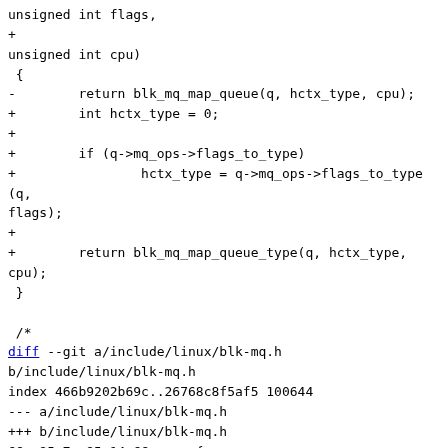unsigned int flags,
+
unsigned int cpu)
 {
-        return blk_mq_map_queue(q, hctx_type, cpu);
+        int hctx_type = 0;
+
+        if (q->mq_ops->flags_to_type)
+                hctx_type = q->mq_ops->flags_to_type(q,
flags);
+
+        return blk_mq_map_queue_type(q, hctx_type,
cpu);
 }

 /*
diff --git a/include/linux/blk-mq.h
b/include/linux/blk-mq.h
index 466b9202b69c..26768c8f5af5 100644
--- a/include/linux/blk-mq.h
+++ b/include/linux/blk-mq.h
@@ -85,7 +85,14 @@ enum {
 };

 struct blk_mq_tag_set {
+        /*
+         * map[] holds ctx -> hctx mappings, one map
exists for each type
+         * that the driver wishes to support. There are
no restrictions